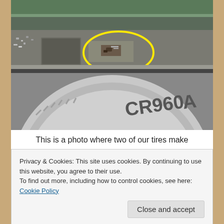[Figure (photo): Photo of a vehicle undercarriage showing a metal frame/spring area with a yellow circle highlighting a crack or defect point, and a tire with 'CR960A' branding visible in the lower portion.]
This is a photo where two of our tires make
Privacy & Cookies: This site uses cookies. By continuing to use this website, you agree to their use.
To find out more, including how to control cookies, see here: Cookie Policy
Lippert springs use inferior steel in the opinion of